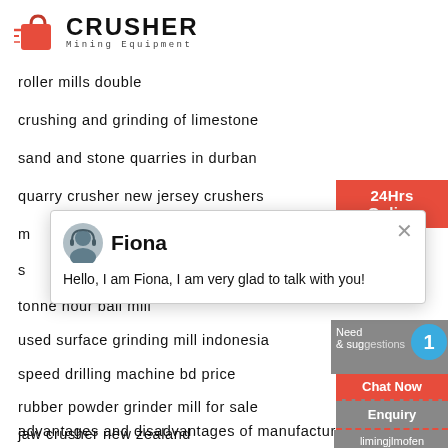[Figure (logo): Crusher Mining Equipment logo with red shopping bag icon and bold CRUSHER text]
roller mills double
crushing and grinding of limestone
sand and stone quarries in durban
quarry crusher new jersey crushers
m
s
tonne hour ball mill
used surface grinding mill indonesia
speed drilling machine bd price
rubber powder grinder mill for sale
advantages and disadvantages of manufactur...
jaw crusher new zealand
[Figure (screenshot): 24Hrs Online badge in red, chat popup with Fiona agent avatar and message 'Hello, I am Fiona, I am very glad to talk with you!', sidebar with Need & suggestions, blue circle with 1, Chat Now button, Enquiry button, limingjlmofen@sina.com]